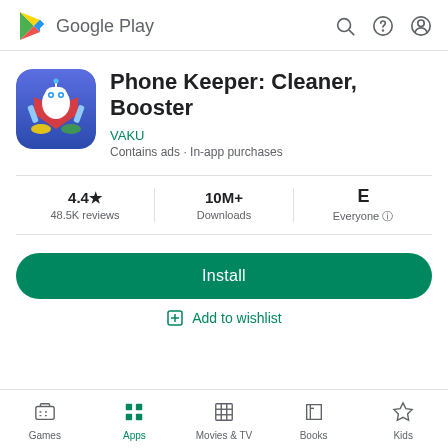Google Play
Phone Keeper: Cleaner, Booster
VAKU
Contains ads · In-app purchases
4.4★ 48.5K reviews | 10M+ Downloads | Everyone
Install
Add to wishlist
Games · Apps · Movies & TV · Books · Kids